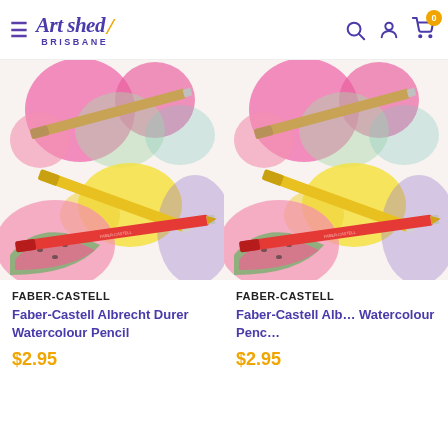Art shed Brisbane — navigation header with search, account, cart icons
[Figure (photo): Faber-Castell Albrecht Durer Watercolour pencils with coloured pencil artwork showing fruit]
FABER-CASTELL
Faber-Castell Albrecht Durer Watercolour Pencil
$2.95
[Figure (photo): Faber-Castell Albrecht Durer Watercolour pencils with coloured pencil artwork showing fruit (second card, partially cropped)]
FABER-CASTELL
Faber-Castell Albrecht Durer Watercolour Pencil
$2.95